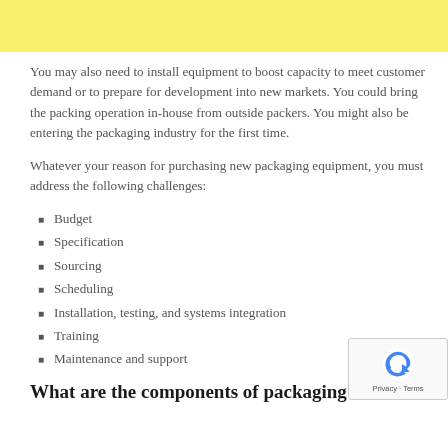You may also need to install equipment to boost capacity to meet customer demand or to prepare for development into new markets. You could bring the packing operation in-house from outside packers. You might also be entering the packaging industry for the first time.
Whatever your reason for purchasing new packaging equipment, you must address the following challenges:
Budget
Specification
Sourcing
Scheduling
Installation, testing, and systems integration
Training
Maintenance and support
What are the components of packaging